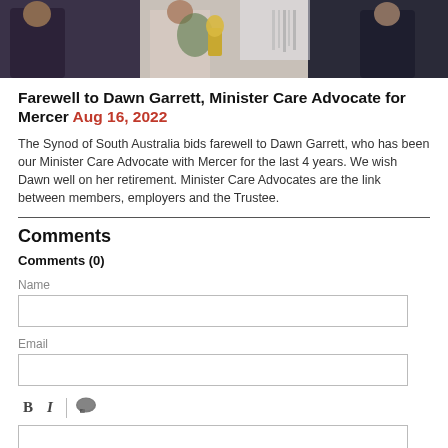[Figure (photo): Group photo of people at an event, partially cropped at top. Three individuals visible, one holding what appears to be an award or trophy.]
Farewell to Dawn Garrett, Minister Care Advocate for Mercer Aug 16, 2022
The Synod of South Australia bids farewell to Dawn Garrett, who has been our Minister Care Advocate with Mercer for the last 4 years. We wish Dawn well on her retirement. Minister Care Advocates are the link between members, employers and the Trustee.
Comments
Comments (0)
Name
Email